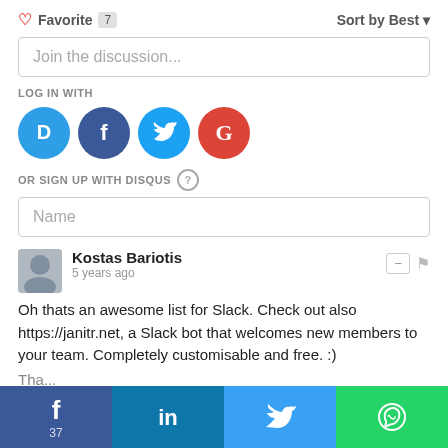♡ Favorite 7    Sort by Best ▼
Join the discussion...
LOG IN WITH
[Figure (logo): Social login icons: Disqus (blue), Facebook (dark blue), Twitter (light blue), Google (red)]
OR SIGN UP WITH DISQUS ?
Name
Kostas Bariotis
5 years ago
Oh thats an awesome list for Slack. Check out also https://janitr.net, a Slack bot that welcomes new members to your team. Completely customisable and free. :)
[Figure (infographic): Social share bar at bottom: Facebook (37), LinkedIn, Twitter, WhatsApp]